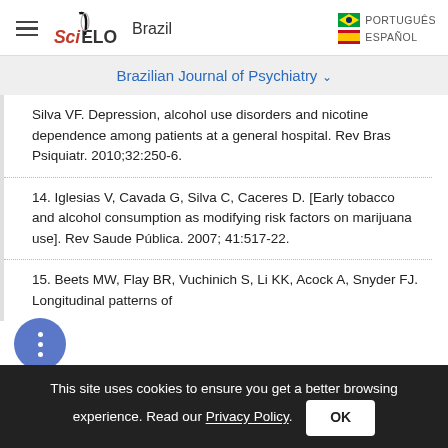SciELO Brazil | PORTUGUÊS | ESPAÑOL
Brazilian Journal of Psychiatry ˅
Silva VF. Depression, alcohol use disorders and nicotine dependence among patients at a general hospital. Rev Bras Psiquiatr. 2010;32:250-6.
14. Iglesias V, Cavada G, Silva C, Caceres D. [Early tobacco and alcohol consumption as modifying risk factors on marijuana use]. Rev Saude Pública. 2007; 41:517-22.
15. Beets MW, Flay BR, Vuchinich S, Li KK, Acock A, Snyder FJ. Longitudinal patterns of
This site uses cookies to ensure you get a better browsing experience. Read our Privacy Policy.